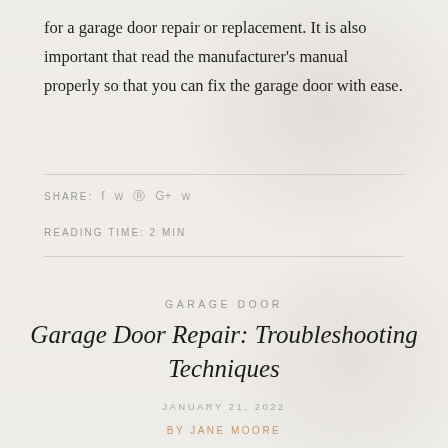for a garage door repair or replacement. It is also important that read the manufacturer's manual properly so that you can fix the garage door with ease.
SHARE: f ɣ ® G+ ꞛ
READING TIME: 2 MIN
GARAGE DOOR
Garage Door Repair: Troubleshooting Techniques
JANUARY 21, 2022
BY JANE MOORE